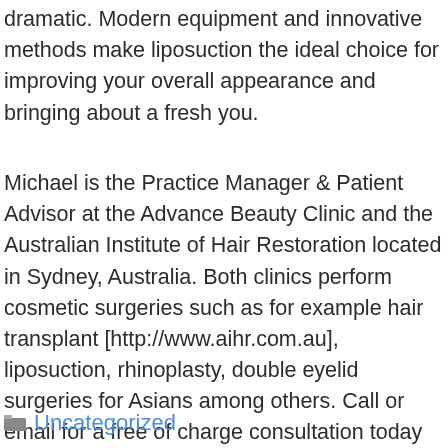dramatic. Modern equipment and innovative methods make liposuction the ideal choice for improving your overall appearance and bringing about a fresh you.
Michael is the Practice Manager & Patient Advisor at the Advance Beauty Clinic and the Australian Institute of Hair Restoration located in Sydney, Australia. Both clinics perform cosmetic surgeries such as for example hair transplant [http://www.aihr.com.au], liposuction, rhinoplasty, double eyelid surgeries for Asians among others. Call or email for a free of charge consultation today at some of our local clinics in Canberra, Melbourne and Brisbane.
Uncategorized